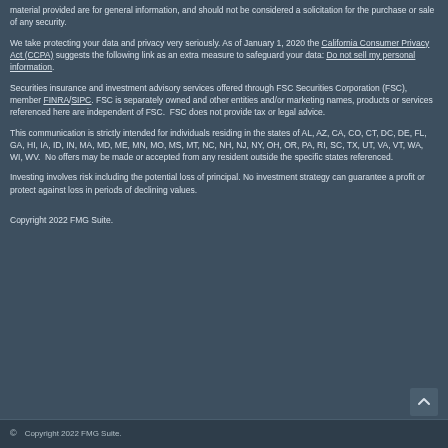material provided are for general information, and should not be considered a solicitation for the purchase or sale of any security.
We take protecting your data and privacy very seriously. As of January 1, 2020 the California Consumer Privacy Act (CCPA) suggests the following link as an extra measure to safeguard your data: Do not sell my personal information.
Securities insurance and investment advisory services offered through FSC Securities Corporation (FSC), member FINRA/SIPC. FSC is separately owned and other entities and/or marketing names, products or services referenced here are independent of FSC. FSC does not provide tax or legal advice.
This communication is strictly intended for individuals residing in the states of AL, AZ, CA, CO, CT, DC, DE, FL, GA, HI, IA, ID, IN, MA, MD, ME, MN, MO, MS, MT, NC, NH, NJ, NY, OH, OR, PA, RI, SC, TX, UT, VA, VT, WA, WI, WV. No offers may be made or accepted from any resident outside the specific states referenced.
Investing involves risk including the potential loss of principal. No investment strategy can guarantee a profit or protect against loss in periods of declining values.
Copyright 2022 FMG Suite.
© Copyright 2022 FMG Suite.